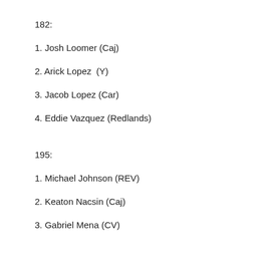182:
1. Josh Loomer (Caj)
2. Arick Lopez  (Y)
3. Jacob Lopez (Car)
4. Eddie Vazquez (Redlands)
195:
1. Michael Johnson (REV)
2. Keaton Nacsin (Caj)
3. Gabriel Mena (CV)